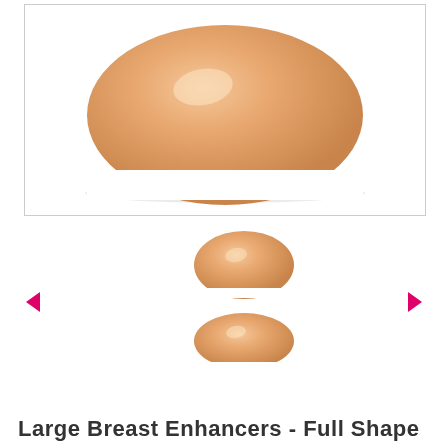[Figure (photo): Large peach/skin-toned silicone breast enhancer, dome-shaped, viewed from above on white background]
[Figure (photo): Two smaller thumbnail images of peach/skin-toned silicone breast enhancers with pink navigation arrows on either side]
Large Breast Enhancers - Full Shape